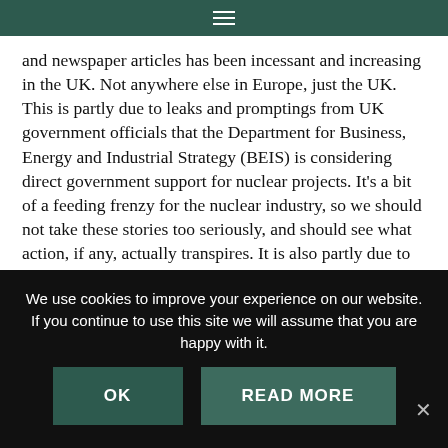≡
and newspaper articles has been incessant and increasing in the UK. Not anywhere else in Europe, just the UK. This is partly due to leaks and promptings from UK government officials that the Department for Business, Energy and Industrial Strategy (BEIS) is considering direct government support for nuclear projects. It's a bit of a feeding frenzy for the nuclear industry, so we should not take these stories too seriously, and should see what action, if any, actually transpires. It is also partly due to current concerns about the rising price of gas: people are looking to see if there are other cheaper sources of energy. However any new nuclear developments, if they ever occurred, would be decades away, and much more expensive than gas. Another issue is the concern over accelerating climate change, shortly to be addressed at COP26 in
We use cookies to improve your experience on our website. If you continue to use this site we will assume that you are happy with it.
OK    READ MORE